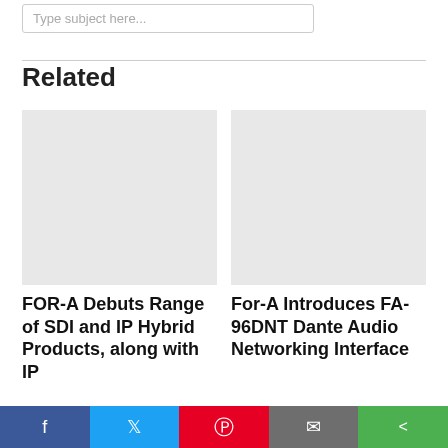Type subject here...
Related
[Figure (photo): Placeholder image for FOR-A article]
FOR-A Debuts Range of SDI and IP Hybrid Products, along with IP
[Figure (photo): Placeholder image for For-A FA-96DNT article]
For-A Introduces FA-96DNT Dante Audio Networking Interface